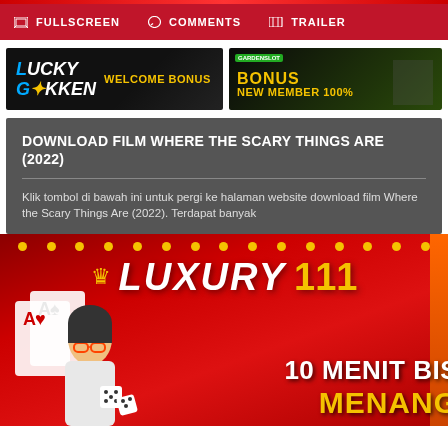FULLSCREEN   COMMENTS   TRAILER
[Figure (illustration): Lucky Gokken welcome bonus advertisement banner - black background with blue and white text]
[Figure (illustration): Green casino bonus new member 100% advertisement banner]
DOWNLOAD FILM WHERE THE SCARY THINGS ARE (2022)
Klik tombol di bawah ini untuk pergi ke halaman website download film Where the Scary Things Are (2022). Terdapat banyak
[Figure (illustration): Luxury111 casino advertisement banner with red background, gold dots, woman with playing cards, dice, and text 10 MENIT BISA MENANG]